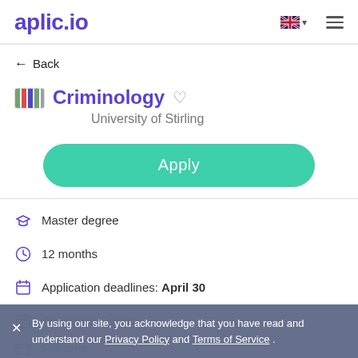aplic.io
← Back
Criminology
University of Stirling
Apply
Master degree
12 months
Application deadlines: April 30
Programme start:
Full-time
By using our site, you acknowledge that you have read and understand our Privacy Policy and Terms of Service.